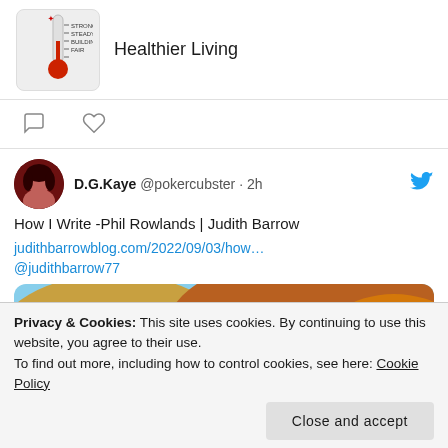[Figure (screenshot): Top card with thermometer image and 'Healthier Living' text]
[Figure (screenshot): Comment and like icons]
D.G.Kaye @pokercubster · 2h
How I Write -Phil Rowlands | Judith Barrow
judithbarrowblog.com/2022/09/03/how…
@judithbarrow77
[Figure (photo): Landscape photo of stone aqueduct/bridge with arches over a reservoir, surrounded by autumn-colored hills]
Privacy & Cookies: This site uses cookies. By continuing to use this website, you agree to their use.
To find out more, including how to control cookies, see here: Cookie Policy
Close and accept
[Figure (screenshot): Comment and like icons at bottom]